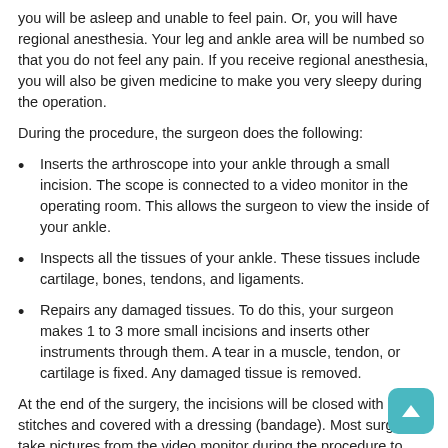you will be asleep and unable to feel pain. Or, you will have regional anesthesia. Your leg and ankle area will be numbed so that you do not feel any pain. If you receive regional anesthesia, you will also be given medicine to make you very sleepy during the operation.
During the procedure, the surgeon does the following:
Inserts the arthroscope into your ankle through a small incision. The scope is connected to a video monitor in the operating room. This allows the surgeon to view the inside of your ankle.
Inspects all the tissues of your ankle. These tissues include cartilage, bones, tendons, and ligaments.
Repairs any damaged tissues. To do this, your surgeon makes 1 to 3 more small incisions and inserts other instruments through them. A tear in a muscle, tendon, or cartilage is fixed. Any damaged tissue is removed.
At the end of the surgery, the incisions will be closed with stitches and covered with a dressing (bandage). Most surgeons take pictures from the video monitor during the procedure to show you what they found and what repairs they made.